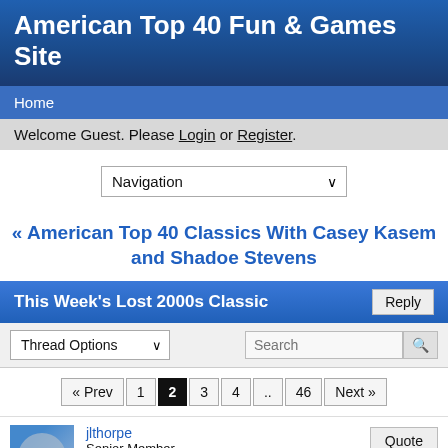American Top 40 Fun & Games Site
Home
Welcome Guest. Please Login or Register.
[Figure (screenshot): Navigation dropdown selector]
« American Top 40 Classics With Casey Kasem and Shadoe Stevens
This Week's Lost 2000s Classic
Thread Options dropdown and Search bar
Pagination: « Prev 1 2 3 4 .. 46 Next »
jlthorpe
Senior Member
★★★
Quote